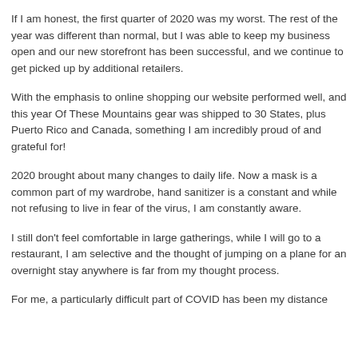If I am honest, the first quarter of 2020 was my worst. The rest of the year was different than normal, but I was able to keep my business open and our new storefront has been successful, and we continue to get picked up by additional retailers.
With the emphasis to online shopping our website performed well, and this year Of These Mountains gear was shipped to 30 States, plus Puerto Rico and Canada, something I am incredibly proud of and grateful for!
2020 brought about many changes to daily life. Now a mask is a common part of my wardrobe, hand sanitizer is a constant and while not refusing to live in fear of the virus, I am constantly aware.
I still don't feel comfortable in large gatherings, while I will go to a restaurant, I am selective and the thought of jumping on a plane for an overnight stay anywhere is far from my thought process.
For me, a particularly difficult part of COVID has been my distance